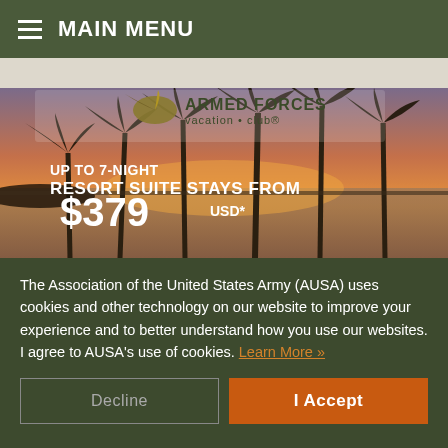MAIN MENU
[Figure (photo): Armed Forces Vacation Club advertisement showing a tropical sunset beach with palm trees silhouetted against an orange and purple sky, with text 'UP TO 7-NIGHT RESORT SUITE STAYS FROM $379 USD*' and the Armed Forces vacation club logo]
The Association of the United States Army (AUSA) uses cookies and other technology on our website to improve your experience and to better understand how you use our websites. I agree to AUSA's use of cookies. Learn More »
Decline
I Accept